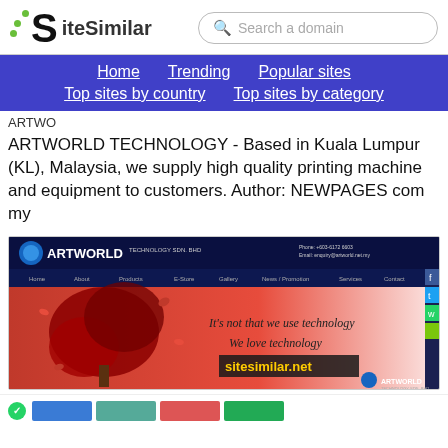SiteSimilar — Search a domain
Home  Trending  Popular sites  Top sites by country  Top sites by category
ARTWO
ARTWORLD TECHNOLOGY - Based in Kuala Lumpur (KL), Malaysia, we supply high quality printing machine and equipment to customers. Author: NEWPAGES com my
[Figure (screenshot): Screenshot of ARTWORLD TECHNOLOGY SDN. BHD website showing a red tree image with the slogan 'It's not that we use technology, We love technology' and sitesimilar.net watermark]
WhatsApp icon and thumbnail images at bottom